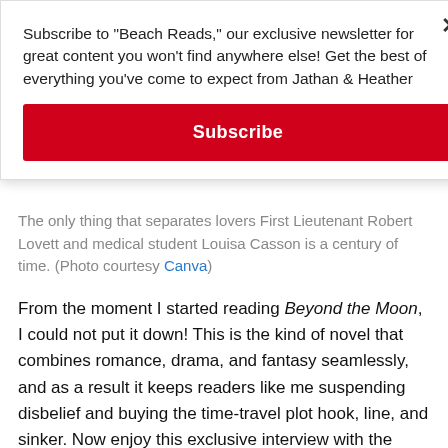Subscribe to "Beach Reads," our exclusive newsletter for great content you won't find anywhere else! Get the best of everything you've come to expect from Jathan & Heather
Subscribe
The only thing that separates lovers First Lieutenant Robert Lovett and medical student Louisa Casson is a century of time. (Photo courtesy Canva)
From the moment I started reading Beyond the Moon, I could not put it down! This is the kind of novel that combines romance, drama, and fantasy seamlessly, and as a result it keeps readers like me suspending disbelief and buying the time-travel plot hook, line, and sinker. Now enjoy this exclusive interview with the author, Catherine Taylor! —J&H Continue reading →